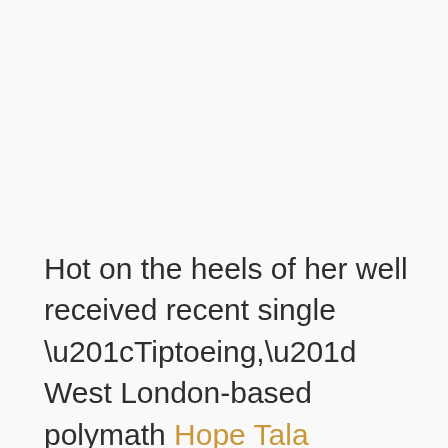Hot on the heels of her well received recent single “Tiptoeing,” West London-based polymath Hope Tala continues her prolific streak with the reveal of her stunning new single “Party Sickness”. A track perfect for soundtracking early year blues, “Party Sickness” sees Hope